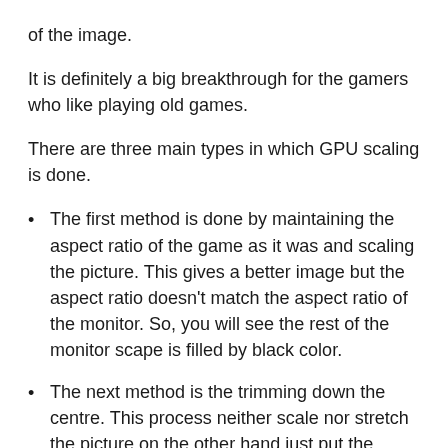of the image.
It is definitely a big breakthrough for the gamers who like playing old games.
There are three main types in which GPU scaling is done.
The first method is done by maintaining the aspect ratio of the game as it was and scaling the picture. This gives a better image but the aspect ratio doesn't match the aspect ratio of the monitor. So, you will see the rest of the monitor scape is filled by black color.
The next method is the trimming down the centre. This process neither scale nor stretch the picture on the other hand just put the picture in the